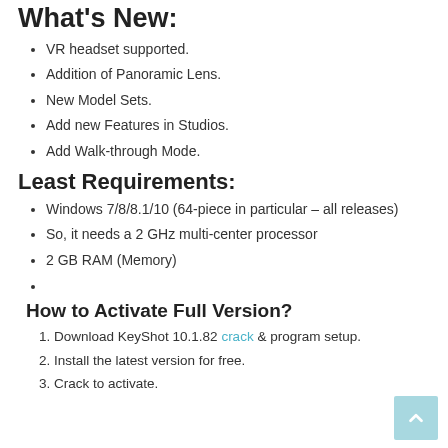What's New:
VR headset supported.
Addition of Panoramic Lens.
New Model Sets.
Add new Features in Studios.
Add Walk-through Mode.
Least Requirements:
Windows 7/8/8.1/10 (64-piece in particular – all releases)
So, it needs a 2 GHz multi-center processor
2 GB RAM (Memory)
How to Activate Full Version?
Download KeyShot 10.1.82 crack & program setup.
Install the latest version for free.
Crack to activate.